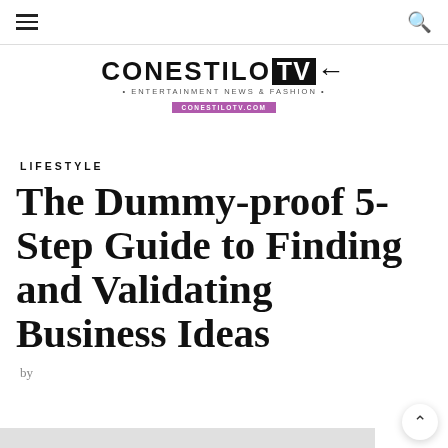≡  🔍
[Figure (logo): CONESTILO TV logo with arrow, subtitle: ENTERTAINMENT NEWS & FASHION, URL: CONESTILOTV.COM]
LIFESTYLE
The Dummy-proof 5-Step Guide to Finding and Validating Business Ideas
by